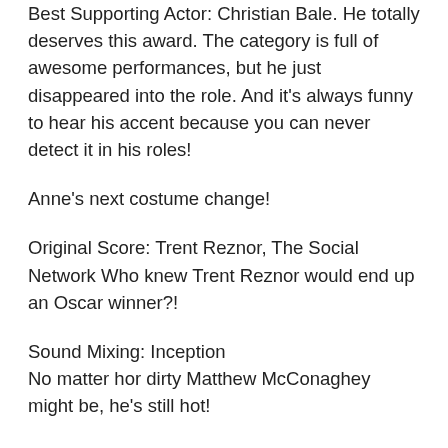Best Supporting Actor: Christian Bale. He totally deserves this award. The category is full of awesome performances, but he just disappeared into the role. And it's always funny to hear his accent because you can never detect it in his roles!
Anne's next costume change!
Original Score: Trent Reznor, The Social Network Who knew Trent Reznor would end up an Oscar winner?!
Sound Mixing: Inception No matter hor dirty Matthew McConaghey might be, he's still hot!
Sound Editing: Inception
So far, no upsets and nothing really exciting. It's all gone according to plan. I think the most "interesting" part has been Kirk Douglas' presentation. I'm not blown away by the hosts- I don't think they're doing